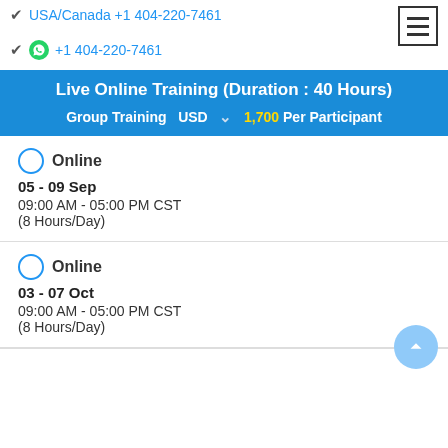✔ USA/Canada +1 404-220-7461
✔ +1 404-220-7461
Live Online Training (Duration : 40 Hours)
Group Training  USD  ˅  1,700 Per Participant
Online
05 - 09 Sep
09:00 AM - 05:00 PM CST
(8 Hours/Day)
Online
03 - 07 Oct
09:00 AM - 05:00 PM CST
(8 Hours/Day)